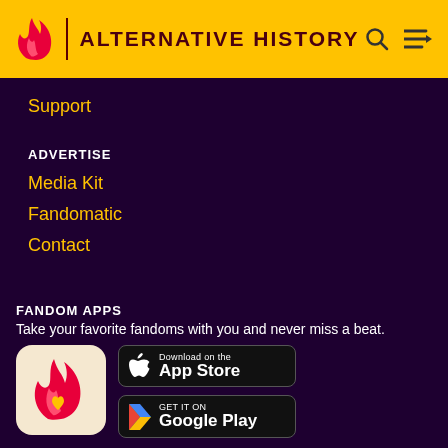ALTERNATIVE HISTORY
Support
ADVERTISE
Media Kit
Fandomatic
Contact
FANDOM APPS
Take your favorite fandoms with you and never miss a beat.
[Figure (logo): Fandom app icon — pink flame with gold heart on light background]
[Figure (screenshot): Download on the App Store button]
[Figure (screenshot): GET IT ON Google Play button]